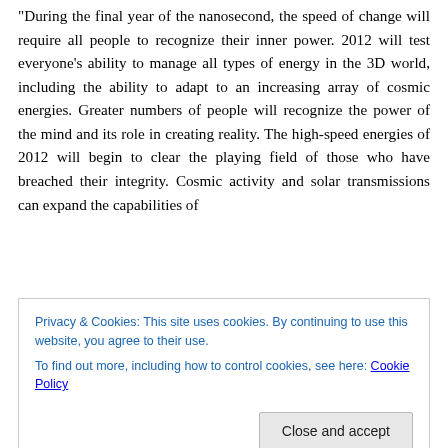“During the final year of the nanosecond, the speed of change will require all people to recognize their inner power. 2012 will test everyone’s ability to manage all types of energy in the 3D world, including the ability to adapt to an increasing array of cosmic energies. Greater numbers of people will recognize the power of the mind and its role in creating reality. The high-speed energies of 2012 will begin to clear the playing field of those who have breached their integrity. Cosmic activity and solar transmissions can expand the capabilities of
Privacy & Cookies: This site uses cookies. By continuing to use this website, you agree to their use.
To find out more, including how to control cookies, see here: Cookie Policy
think in bigger terms which is the very process that